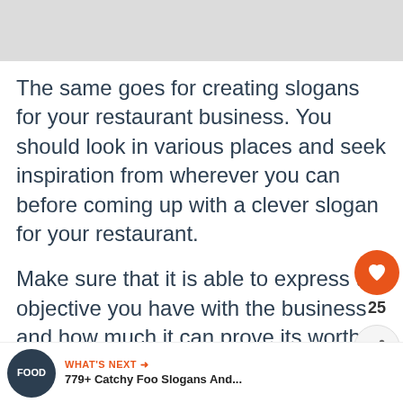[Figure (photo): Partial image visible at top of page, appears to be a food-related photo with light gray background]
The same goes for creating slogans for your restaurant business. You should look in various places and seek inspiration from wherever you can before coming up with a clever slogan for your restaurant.
Make sure that it is able to express the objective you have with the business and how much it can prove its worth to the people. Here's a list of clever restaurant slogan ideas for you perusal: